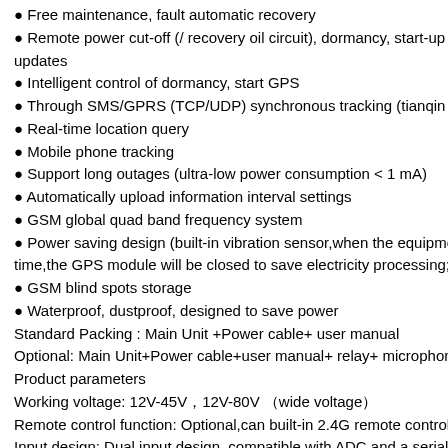Free maintenance, fault automatic recovery
Remote power cut-off (/ recovery oil circuit), dormancy, start-up equipment updates
Intelligent control of dormancy, start GPS
Through SMS/GPRS (TCP/UDP) synchronous tracking (tianqin protoc…
Real-time location query
Mobile phone tracking
Support long outages (ultra-low power consumption < 1 mA)
Automatically upload information interval settings
GSM global quad band frequency system
Power saving design (built-in vibration sensor,when the equipment is p… time,the GPS module will be closed to save electricity processing; It will…
GSM blind spots storage
Waterproof, dustproof, designed to save power
Standard Packing : Main Unit +Power cable+ user manual
Optional: Main Unit+Power cable+user manual+ relay+ microphone+ SC…
Product parameters
Working voltage: 12V-45V，12V-80V （wide voltage）
Remote control function: Optional,can built-in 2.4G remote control functi…
Input design: Dual input design, compatible with ADC and a serial port i…
Built-in battery: Chargeable,battery is replaceable 800 mAh (3.7V)
Size: 90×45×10(thickness) mm